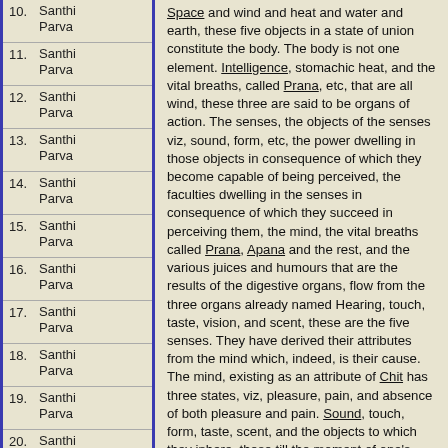10. Santhi Parva
11. Santhi Parva
12. Santhi Parva
13. Santhi Parva
14. Santhi Parva
15. Santhi Parva
16. Santhi Parva
17. Santhi Parva
18. Santhi Parva
19. Santhi Parva
20. Santhi Parva
21. Santhi Parva
22. Santhi
Space and wind and heat and water and earth, these five objects in a state of union constitute the body. The body is not one element. Intelligence, stomachic heat, and the vital breaths, called Prana, etc, that are all wind, these three are said to be organs of action. The senses, the objects of the senses viz, sound, form, etc, the power dwelling in those objects in consequence of which they become capable of being perceived, the faculties dwelling in the senses in consequence of which they succeed in perceiving them, the mind, the vital breaths called Prana, Apana and the rest, and the various juices and humours that are the results of the digestive organs, flow from the three organs already named Hearing, touch, taste, vision, and scent, these are the five senses. They have derived their attributes from the mind which, indeed, is their cause. The mind, existing as an attribute of Chit has three states, viz, pleasure, pain, and absence of both pleasure and pain. Sound, touch, form, taste, scent, and the objects to which they inhere, these till the moment of one's death are causes for the production of one's knowledge.
Upon the senses rest all acts that lead to heaven, as also renunciation leading to the attainment of Brahma, and also the ascertainment of truth in respect of all topics of enquiry. The learned say that ascertainment of truth is the highest object of existence, and that it is the seed or root of Emancipation; and with respect to